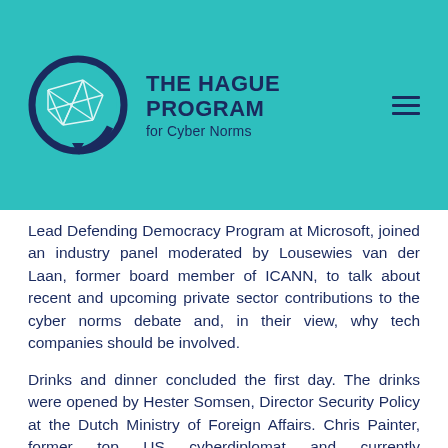[Figure (logo): The Hague Program for Cyber Norms logo — circular globe icon with network lines in dark navy and teal, beside text 'THE HAGUE PROGRAM for Cyber Norms' in dark navy on a teal background]
Lead Defending Democracy Program at Microsoft, joined an industry panel moderated by Lousewies van der Laan, former board member of ICANN, to talk about recent and upcoming private sector contributions to the cyber norms debate and, in their view, why tech companies should be involved.
Drinks and dinner concluded the first day. The drinks were opened by Hester Somsen, Director Security Policy at the Dutch Ministry of Foreign Affairs. Chris Painter, former top US cyberdiplomat and currently Commissioner at the Global Commission for the Stability of Cyberspace, gave a short update on the